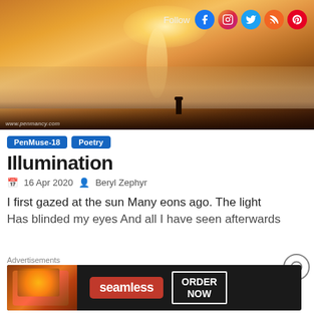[Figure (photo): Dramatic aerial/mountain landscape photo showing a person standing on a rocky peak above clouds with a golden sunset/sunrise behind, watermark 'www.penmancy.com' at bottom left. Social media follow icons (Facebook, Instagram, Twitter, RSS, Pinterest) overlay the top right.]
PenMuse-18  Poetry
Illumination
📅 16 Apr 2020  👤 Beryl Zephyr
I first gazed at the sun Many eons ago. The light
Has blinded my eyes And all I have seen afterwards
Advertisements
[Figure (screenshot): Seamless food delivery advertisement banner with pizza image on left, red 'seamless' logo in center, and white 'ORDER NOW' button on right, on dark background.]